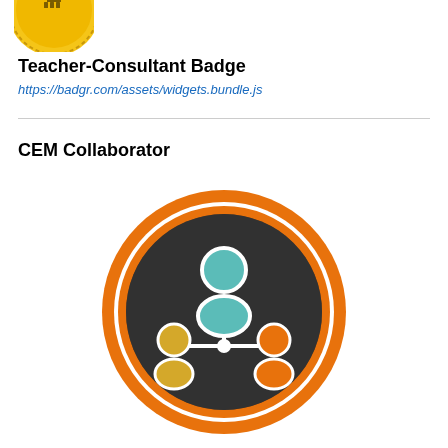[Figure (logo): Partial yellow circular badge logo visible at top left]
Teacher-Consultant Badge
https://badgr.com/assets/widgets.bundle.js
CEM Collaborator
[Figure (illustration): CEM Collaborator badge: dark circular badge with orange ring border, showing three person icons (teal top center, yellow bottom left, orange bottom right) connected by white lines to a central node, on a dark hexagonal pattern background]